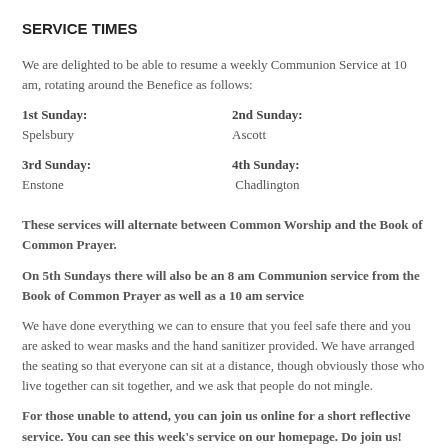SERVICE TIMES
We are delighted to be able to resume a weekly Communion Service at 10 am, rotating around the Benefice as follows:
1st Sunday: Spelsbury | 2nd Sunday: Ascott | 3rd Sunday: Enstone | 4th Sunday: Chadlington
These services will alternate between Common Worship and the Book of Common Prayer.
On 5th Sundays there will also be an 8 am Communion service from the Book of Common Prayer as well as a 10 am service
We have done everything we can to ensure that you feel safe there and you are asked to wear masks and the hand sanitizer provided. We have arranged the seating so that everyone can sit at a distance, though obviously those who live together can sit together, and we ask that people do not mingle.
For those unable to attend, you can join us online for a short reflective service. You can see this week's service on our homepage. Do join us!